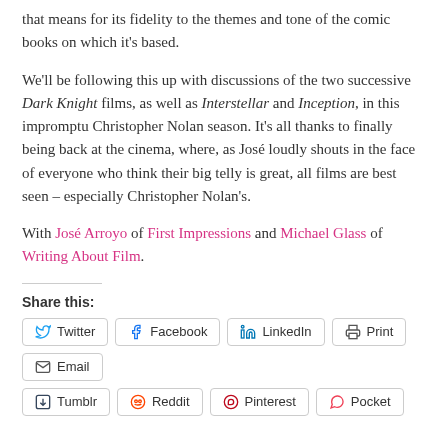that means for its fidelity to the themes and tone of the comic books on which it's based.
We'll be following this up with discussions of the two successive Dark Knight films, as well as Interstellar and Inception, in this impromptu Christopher Nolan season. It's all thanks to finally being back at the cinema, where, as José loudly shouts in the face of everyone who think their big telly is great, all films are best seen – especially Christopher Nolan's.
With José Arroyo of First Impressions and Michael Glass of Writing About Film.
Share this:
Twitter
Facebook
LinkedIn
Print
Email
Tumblr
Reddit
Pinterest
Pocket